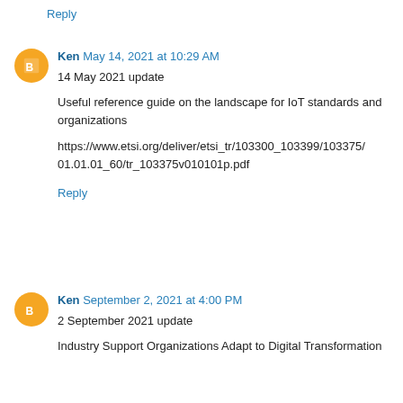Reply
Ken May 14, 2021 at 10:29 AM
14 May 2021 update
Useful reference guide on the landscape for IoT standards and organizations
https://www.etsi.org/deliver/etsi_tr/103300_103399/103375/01.01.01_60/tr_103375v010101p.pdf
Reply
Ken September 2, 2021 at 4:00 PM
2 September 2021 update
Industry Support Organizations Adapt to Digital Transformation